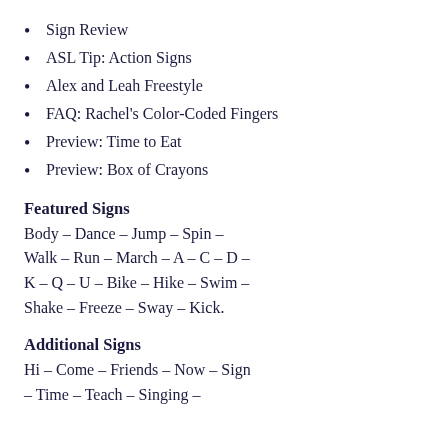Sign Review
ASL Tip: Action Signs
Alex and Leah Freestyle
FAQ: Rachel's Color-Coded Fingers
Preview: Time to Eat
Preview: Box of Crayons
Featured Signs
Body - Dance - Jump - Spin - Walk - Run - March - A - C - D - K - Q - U - Bike - Hike - Swim - Shake - Freeze - Sway - Kick.
Additional Signs
Hi - Come - Friends - Now - Sign - Time - Teach - Singing -